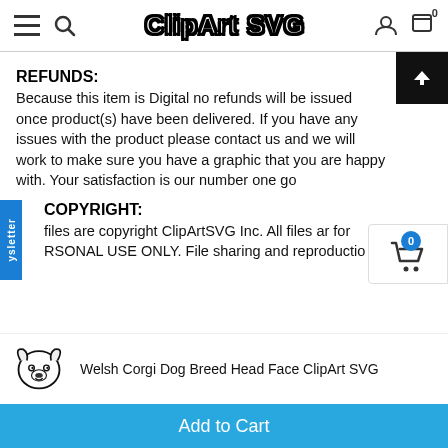ClipArt SVG — navigation bar with menu, search, user, and cart icons
REFUNDS:
Because this item is Digital no refunds will be issued once product(s) have been delivered. If you have any issues with the product please contact us and we will work to make sure you have a graphic that you are happy with. Your satisfaction is our number one go
COPYRIGHT:
files are copyright ClipArtSVG Inc. All files ar for RSONAL USE ONLY. File sharing and reproductio
[Figure (illustration): Welsh Corgi dog breed head face clipart SVG thumbnail — black and white line art illustration of a corgi face]
Welsh Corgi Dog Breed Head Face ClipArt SVG
Add to Cart